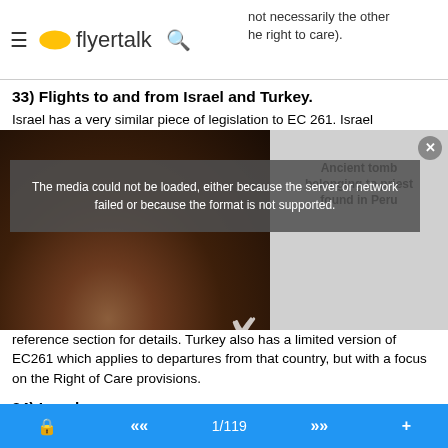flyertalk | not necessarily the other [the right to care].
33) Flights to and from Israel and Turkey.
Israel has a very similar piece of legislation to EC 261. Israel
[Figure (screenshot): Overlapping media player error overlay on photo. Left portion shows dark archaeological photo of stones/dirt. Right portion shows gray background with text 'Ancient tomb belonging to priest found in Peru'. Center overlay shows error message: 'The media could not be loaded, either because the server or network failed or because the format is not supported.' with X close button and large X watermark.]
reference section for details. Turkey also has a limited version of EC261 which applies to departures from that country, but with a focus on the Right of Care provisions.
34) Legal process
Hopefully you don't need to worry about this section. We feel this is beyond the scope of our advice, however in broad terms there is a small claims process in the UK, which can be done in person or online through the MoneyClaim service.
1/119